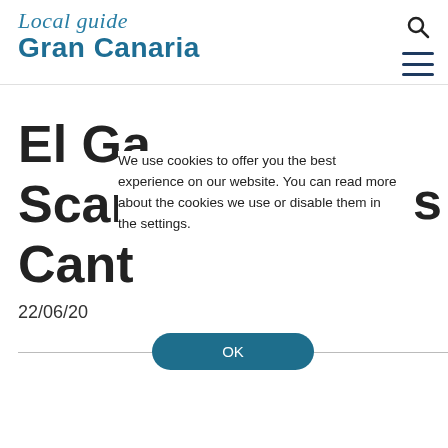Local guide Gran Canaria
El Ga
Scan
Cant
We use cookies to offer you the best experience on our website. You can read more about the cookies we use or disable them in the settings.
22/06/20